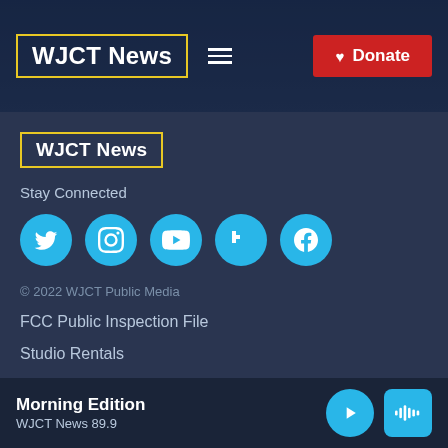WJCT News | Donate
[Figure (logo): WJCT News logo in yellow bordered box in page header]
[Figure (logo): WJCT News logo in yellow bordered box in footer section]
Stay Connected
[Figure (infographic): Social media icons: Twitter, Instagram, YouTube, Flipboard, Facebook — cyan circles]
© 2022 WJCT Public Media
FCC Public Inspection File
Studio Rentals
Privacy Policy
Morning Edition | WJCT News 89.9